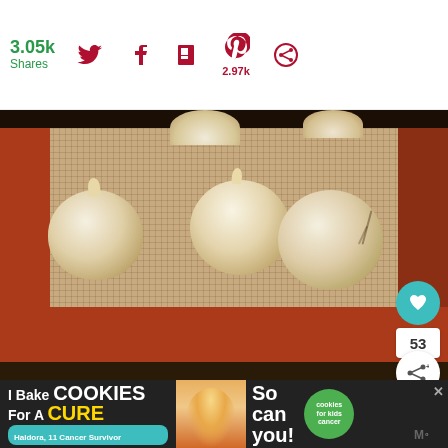3.05k Shares
[Figure (photo): Cookie dough balls on a silicone baking mat viewed from above]
Tools
ball...
[Figure (other): Advertisement banner: I Bake COOKIES For A CURE - Haldora, 11 Cancer Survivor - So can you! - cookies for kids cancer]